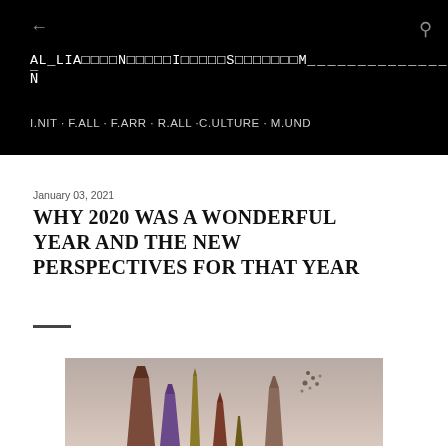← ALLIANCENAILLSM EN | I.NIT · F.ALL · F.ARR · R.ALL · C.ULTURE · M.UND
January 03, 2021
WHY 2020 WAS A WONDERFUL YEAR AND THE NEW PERSPECTIVES FOR THAT YEAR
[Figure (photo): Abstract crystal or sculpture photo with tall dark crystalline forms against a muted background]